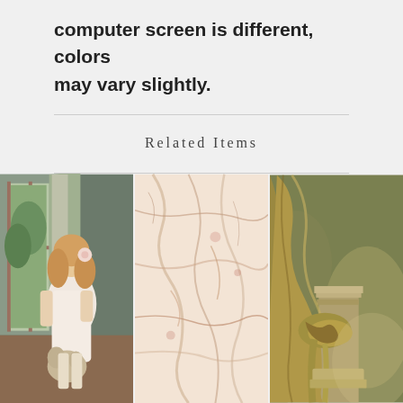computer screen is different, colors may vary slightly.
Related Items
[Figure (photo): Young girl in white dress standing near an open window, holding a stuffed animal cat, with a painted outdoor scene background]
[Figure (photo): Marble or stone texture photography backdrop with pink, cream, and brown veining patterns]
[Figure (photo): Painted studio backdrop featuring golden/olive draped fabric curtain tied to a column with soft muted background]